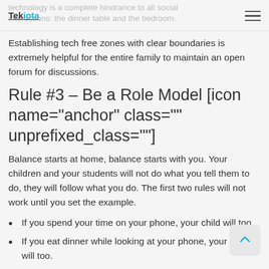Tekiota
Establishing tech free zones with clear boundaries is extremely helpful for the entire family to maintain an open forum for discussions.
Rule #3 – Be a Role Model [icon name="anchor" class="" unprefixed_class=""]
Balance starts at home, balance starts with you. Your children and your students will not do what you tell them to do, they will follow what you do. The first two rules will not work until you set the example.
If you spend your time on your phone, your child will too.
If you eat dinner while looking at your phone, your child will too.